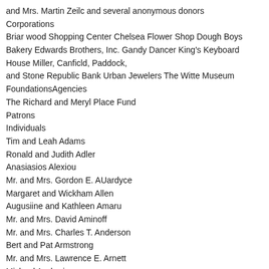and Mrs. Martin Zeilc and several anonymous donors
Corporations
Briar wood Shopping Center Chelsea Flower Shop Dough Boys Bakery Edwards Brothers, Inc. Gandy Dancer King's Keyboard House Miller, Canficld, Paddock, and Stone Republic Bank Urban Jewelers The Witte Museum
FoundationsAgencies
The Richard and Meryl Place Fund
Patrons
Individuals
Tim and Leah Adams
Ronald and Judith Adler
Anasiasios Alexiou
Mr. and Mrs. Gordon E. AUardyce
Margaret and Wickham Allen
Augusiine and Kathleen Amaru
Mr. and Mrs. David Aminoff
Mr. and Mrs. Charles T. Anderson
Bert and Pat Armstrong
Mr. and Mrs. Lawrence E. Arnett
Michael Avsharian
Charlenc and Eugene Axelrod
Jonathan and Marlcnc Ayers